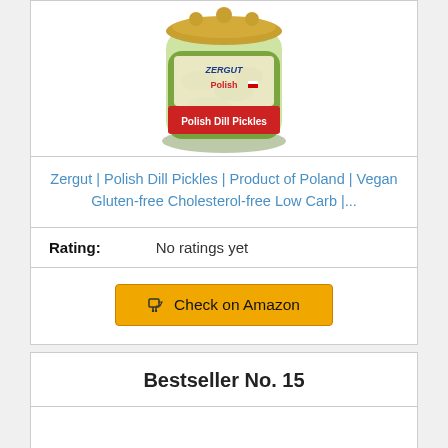[Figure (photo): Zergut Polish Dill Pickles jar product photo]
Zergut | Polish Dill Pickles | Product of Poland | Vegan Gluten-free Cholesterol-free Low Carb |...
Rating: No ratings yet
Check on Amazon
Bestseller No. 15